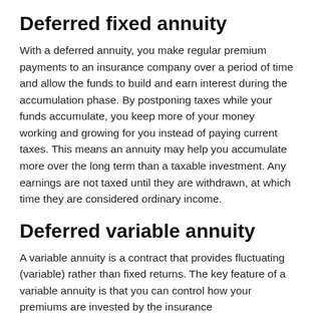Deferred fixed annuity
With a deferred annuity, you make regular premium payments to an insurance company over a period of time and allow the funds to build and earn interest during the accumulation phase. By postponing taxes while your funds accumulate, you keep more of your money working and growing for you instead of paying current taxes. This means an annuity may help you accumulate more over the long term than a taxable investment. Any earnings are not taxed until they are withdrawn, at which time they are considered ordinary income.
Deferred variable annuity
A variable annuity is a contract that provides fluctuating (variable) rather than fixed returns. The key feature of a variable annuity is that you can control how your premiums are invested by the insurance